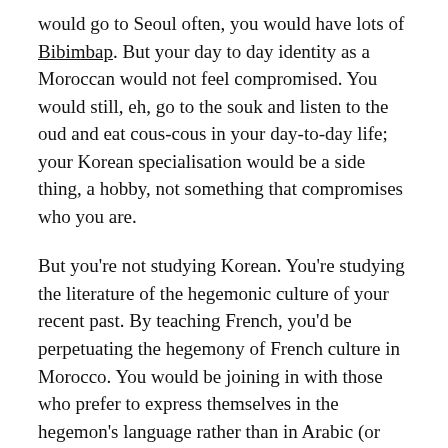would go to Seoul often, you would have lots of Bibimbap. But your day to day identity as a Moroccan would not feel compromised. You would still, eh, go to the souk and listen to the oud and eat cous-cous in your day-to-day life; your Korean specialisation would be a side thing, a hobby, not something that compromises who you are.
But you're not studying Korean. You're studying the literature of the hegemonic culture of your recent past. By teaching French, you'd be perpetuating the hegemony of French culture in Morocco. You would be joining in with those who prefer to express themselves in the hegemon's language rather than in Arabic (or Berber).
So what to do?
Well, the fashion in a lot of Western university